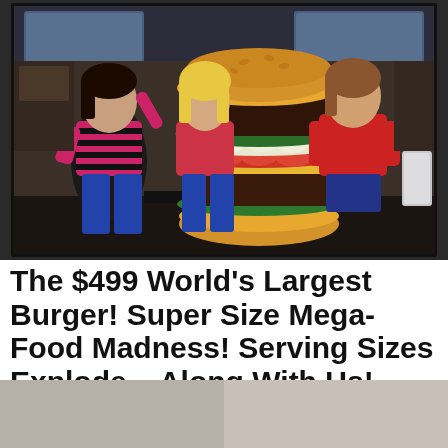[Figure (photo): Three young girls standing around a massive burger that is nearly as tall as they are. The burger has visible layers of lettuce, tomato, onion, and meat patties. The setting appears to be a restaurant interior with TV screens visible in the background. The girls are wearing colorful shirts; the leftmost wears a pink and black striped shirt, the middle wears a red shirt, and the rightmost wears a red long-sleeve shirt.]
The $499 World's Largest Burger! Super Size Mega-Food Madness! Serving Sizes Explode – Along With Us!
[Figure (photo): Partial bottom strip showing two cropped thumbnail images, partially visible at the bottom of the page.]